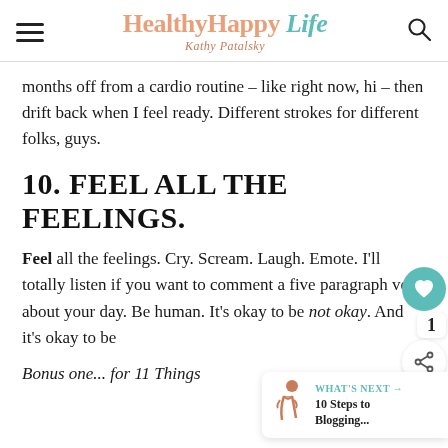Healthy Happy Life — Kathy Patalsky
months off from a cardio routine – like right now, hi – then drift back when I feel ready. Different strokes for different folks, guys.
10. FEEL ALL THE FEELINGS.
Feel all the feelings. Cry. Scream. Laugh. Emote. I'll totally listen if you want to comment a five paragraph vent about your day. Be human. It's okay to be not okay. And it's okay to be
Bonus one... for 11 Things